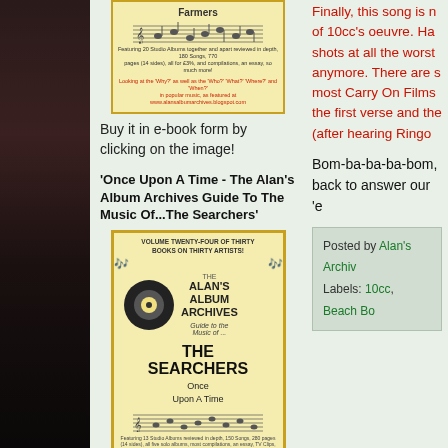[Figure (illustration): Dark photo strip on the left side of the page showing a blurred outdoor scene]
[Figure (illustration): Book cover for Alan's Album Archives guide to The Farmers, yellow with music staff, small text about studio albums]
Buy it in e-book form by clicking on the image!
'Once Upon A Time - The Alan's Album Archives Guide To The Music Of...The Searchers'
[Figure (illustration): Book cover for Alan's Album Archives Guide to the Music of The Searchers - Once Upon A Time, Volume Twenty-Four, yellow cover with record graphic]
Finally, this song is n... of 10cc's oeuvre. Ha... shots at all the worst... anymore. There are s... most Carry On Films... the first verse and the... (after hearing Ringo...
Bom-ba-ba-ba-bom, back to answer our 'e...
Posted by Alan's Archiv...
Labels: 10cc, Beach Bo...